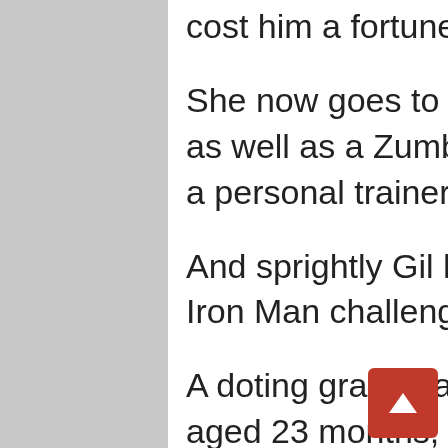cost him a fortune in clothes,' she added.
She now goes to the gym four times a week as well as a Zumba class, and works out with a personal trainer.
And sprightly Gil has even taken part in an Iron Man challenge, as well as running races.
A doting grandma to Lily, aged two, and Isla, aged 23 months, Gill loves to look after her 'little angels' and is sure she has prolonged her life span.
She said: ‘I’ve had a nice Christmas and eaten what I want, and now I’m back into training.